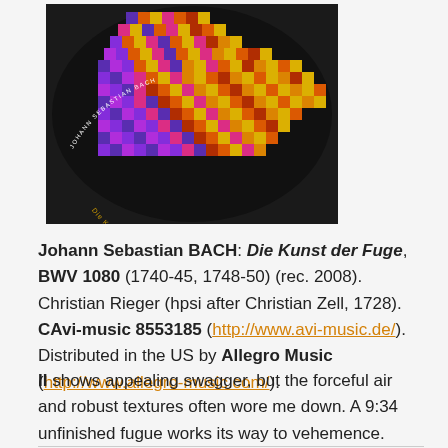[Figure (photo): Album cover for Die Kunst der Fuge by Johann Sebastian Bach, showing a colorful pixelated/checkered geometric pattern in orange, pink, purple, yellow and blue on a dark background with text 'JOHANN SEBASTIAN BACH' and 'Die Kunst der Fuge' visible.]
Johann Sebastian BACH: Die Kunst der Fuge, BWV 1080 (1740-45, 1748-50) (rec. 2008). Christian Rieger (hpsi after Christian Zell, 1728). CAvi-music 8553185 (http://www.avi-music.de/). Distributed in the US by Allegro Music (http://www.allegro-music.com/).
II shows appealing swagger, but the forceful air and robust textures often wore me down. A 9:34 unfinished fugue works its way to vehemence.